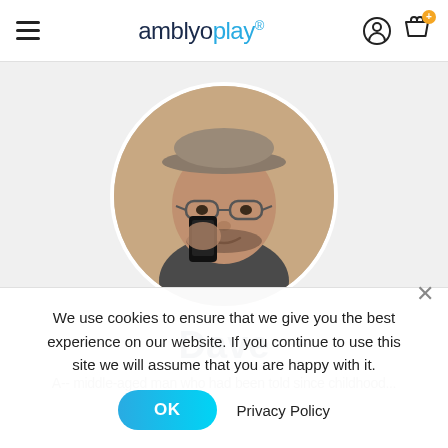amblyoplay®
[Figure (photo): Circular profile photo of a middle-aged man wearing a flat cap and glasses, holding a smartphone taking a selfie]
Dave
A-- middle-aged man who had been told since childhood...
We use cookies to ensure that we give you the best experience on our website. If you continue to use this site we will assume that you are happy with it.